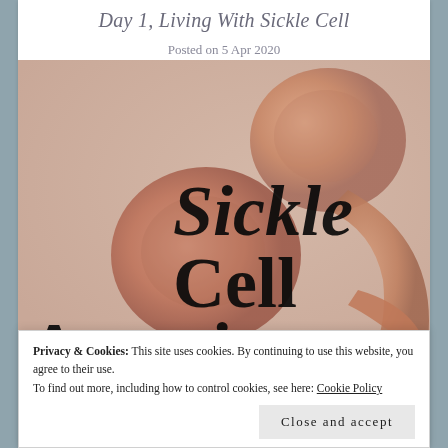Day 1, Living With Sickle Cell
Posted on 5 Apr 2020
[Figure (illustration): Medical illustration of sickle cell anemia showing deformed sickle-shaped red blood cells alongside a round normal red blood cell. Overlaid large italic/bold text reading 'Sickle Cell Anemia' in black serif font.]
Privacy & Cookies: This site uses cookies. By continuing to use this website, you agree to their use.
To find out more, including how to control cookies, see here: Cookie Policy
Close and accept